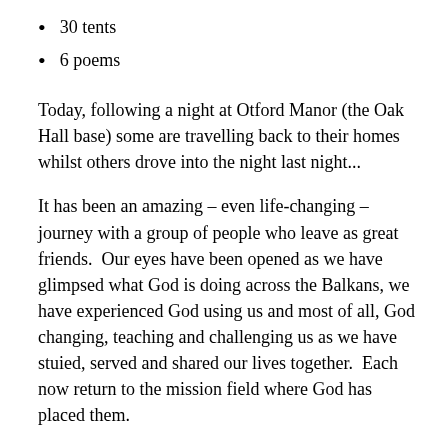30 tents
6 poems
Today, following a night at Otford Manor (the Oak Hall base) some are travelling back to their homes whilst others drove into the night last night...
It has been an amazing – even life-changing – journey with a group of people who leave as great friends.  Our eyes have been opened as we have glimpsed what God is doing across the Balkans, we have experienced God using us and most of all, God changing, teaching and challenging us as we have stuied, served and shared our lives together.  Each now return to the mission field where God has placed them.
We plan to meet up at Otford Manor for the weekend 1-3 October.  As you have shared this journey through the